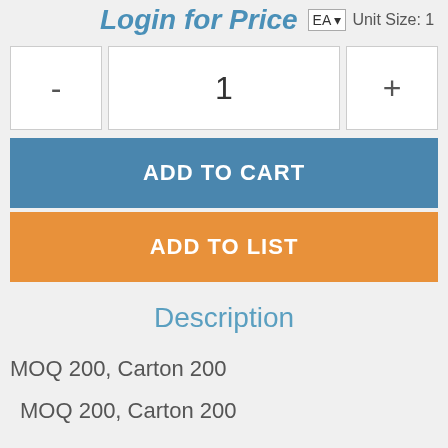Login for Price  EA  Unit Size: 1
- 1 +
ADD TO CART
ADD TO LIST
Description
MOQ 200, Carton 200
MOQ 200, Carton 200